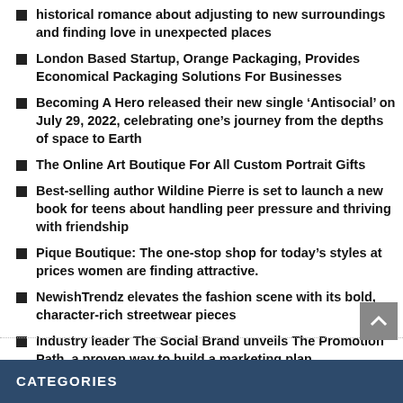historical romance about adjusting to new surroundings and finding love in unexpected places
London Based Startup, Orange Packaging, Provides Economical Packaging Solutions For Businesses
Becoming A Hero released their new single ‘Antisocial’ on July 29, 2022, celebrating one’s journey from the depths of space to Earth
The Online Art Boutique For All Custom Portrait Gifts
Best-selling author Wildine Pierre is set to launch a new book for teens about handling peer pressure and thriving with friendship
Pique Boutique: The one-stop shop for today’s styles at prices women are finding attractive.
NewishTrendz elevates the fashion scene with its bold, character-rich streetwear pieces
Industry leader The Social Brand unveils The Promotion Path, a proven way to build a marketing plan
Salt.Xo: Handcrafted skincare for all skin types
CATEGORIES